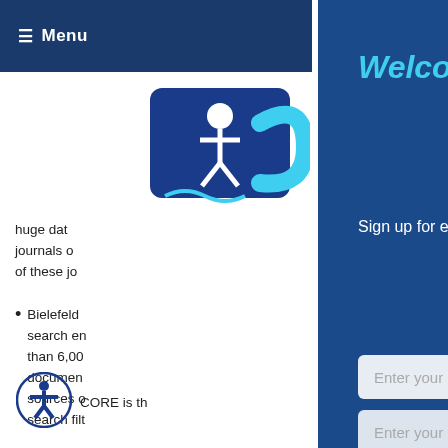≡ Menu
[Figure (logo): Partial blue and white logo/icon visible on left panel]
huge dat journals o of these jo
Bielefeld search en than 6,00 documen sources o search filt
CORE is th
Welcome to the neighborhood.
Sign up for exclusive offers and content and recieve 5% OFF your next order.
Enter your name
Enter your phone number